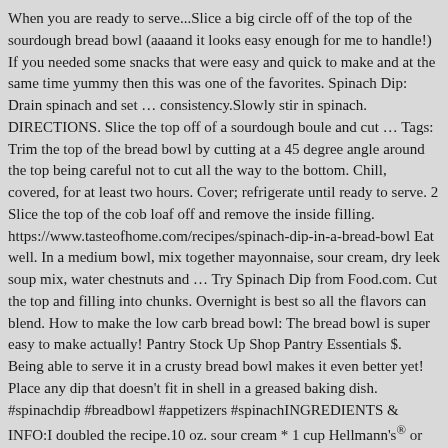When you are ready to serve...Slice a big circle off of the top of the sourdough bread bowl (aaaand it looks easy enough for me to handle!) If you needed some snacks that were easy and quick to make and at the same time yummy then this was one of the favorites. Spinach Dip: Drain spinach and set ... consistency.Slowly stir in spinach. DIRECTIONS. Slice the top off of a sourdough boule and cut ... Tags: Trim the top of the bread bowl by cutting at a 45 degree angle around the top being careful not to cut all the way to the bottom. Chill, covered, for at least two hours. Cover; refrigerate until ready to serve. 2 Slice the top of the cob loaf off and remove the inside filling. https://www.tasteofhome.com/recipes/spinach-dip-in-a-bread-bowl Eat well. In a medium bowl, mix together mayonnaise, sour cream, dry leek soup mix, water chestnuts and ... Try Spinach Dip from Food.com. Cut the top and filling into chunks. Overnight is best so all the flavors can blend. How to make the low carb bread bowl: The bread bowl is super easy to make actually! Pantry Stock Up Shop Pantry Essentials $. Being able to serve it in a crusty bread bowl makes it even better yet! Place any dip that doesn't fit in shell in a greased baking dish. #spinachdip #breadbowl #appetizers #spinachINGREDIENTS & INFO:I doubled the recipe.10 oz. sour cream * 1 cup Hellmann's® or Best Foods® Real Mayonnaise: 1 package Knorr® Vegetable recipe mix 1 can (8 oz.)